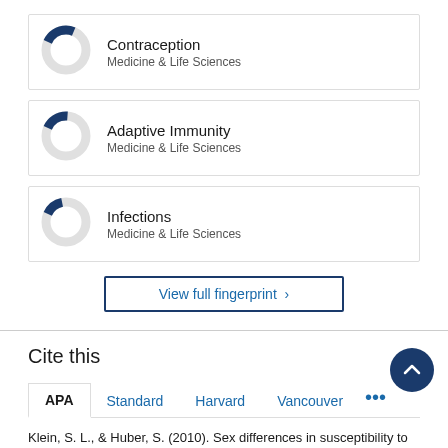[Figure (donut-chart): Donut chart showing ~25% fill, dark blue segment, Medicine & Life Sciences]
[Figure (donut-chart): Donut chart showing ~20% fill, dark blue segment, Medicine & Life Sciences]
[Figure (donut-chart): Donut chart showing ~15% fill, dark blue segment, Medicine & Life Sciences]
View full fingerprint >
Cite this
APA  Standard  Harvard  Vancouver  ...
Klein, S. L., & Huber, S. (2010). Sex differences in susceptibility to viral infection. In Sex Hormones and Immunity to Infection